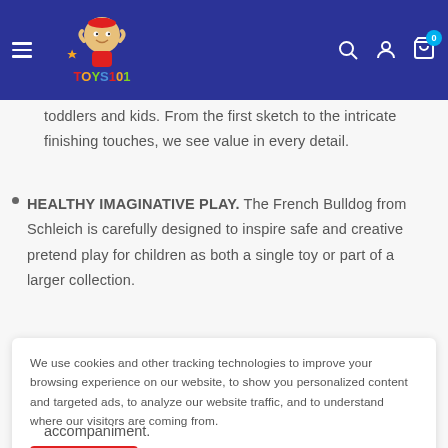[Figure (logo): Toys101 website header with hamburger menu, colorful Toys101 logo on blue background, search icon, account icon, and cart icon with badge showing 0]
toddlers and kids. From the first sketch to the intricate finishing touches, we see value in every detail.
HEALTHY IMAGINATIVE PLAY. The French Bulldog from Schleich is carefully designed to inspire safe and creative pretend play for children as both a single toy or part of a larger collection.
We use cookies and other tracking technologies to improve your browsing experience on our website, to show you personalized content and targeted ads, to analyze our website traffic, and to understand where our visitors are coming from.
Accept
accompaniment.